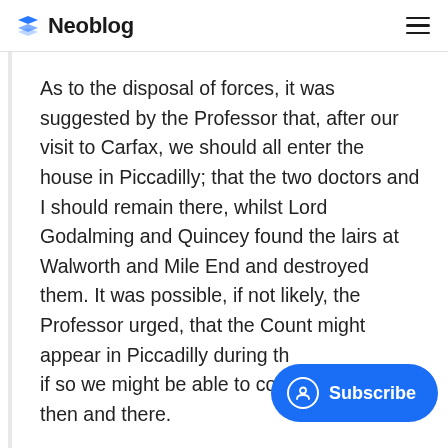Neoblog
As to the disposal of forces, it was suggested by the Professor that, after our visit to Carfax, we should all enter the house in Piccadilly; that the two doctors and I should remain there, whilst Lord Godalming and Quincey found the lairs at Walworth and Mile End and destroyed them. It was possible, if not likely, the Professor urged, that the Count might appear in Piccadilly during th... if so we might be able to cope then and there.